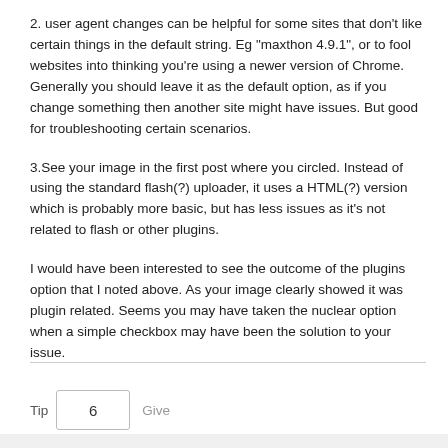2. user agent changes can be helpful for some sites that don't like certain things in the default string. Eg "maxthon 4.9.1", or to fool websites into thinking you're using a newer version of Chrome. Generally you should leave it as the default option, as if you change something then another site might have issues. But good for troubleshooting certain scenarios.
3.See your image in the first post where you circled. Instead of using the standard flash(?) uploader, it uses a HTML(?) version which is probably more basic, but has less issues as it's not related to flash or other plugins.
I would have been interested to see the outcome of the plugins option that I noted above. As your image clearly showed it was plugin related. Seems you may have taken the nuclear option when a simple checkbox may have been the solution to your issue.